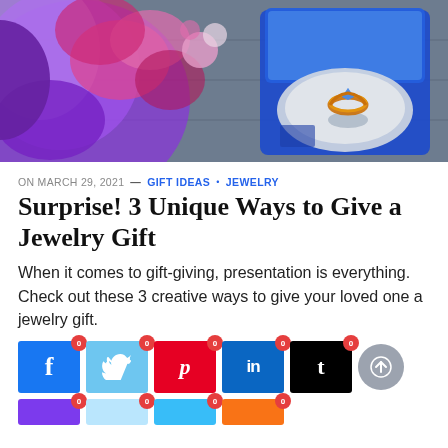[Figure (photo): Photo of flowers (pink and purple) next to a blue velvet ring box containing a gold ring with a blue gemstone, on a wooden surface.]
ON MARCH 29, 2021 — GIFT IDEAS • JEWELRY
Surprise! 3 Unique Ways to Give a Jewelry Gift
When it comes to gift-giving, presentation is everything. Check out these 3 creative ways to give your loved one a jewelry gift.
[Figure (infographic): Social media share buttons: Facebook (f), Twitter (bird), Pinterest (p), LinkedIn (in), Tumblr (t), and a scroll-to-top button. All showing 0 shares. Second row partially visible with purple, light blue, blue-gray, and orange-red buttons also showing 0 shares.]